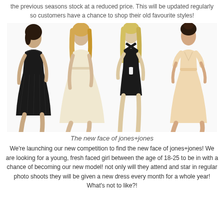the previous seasons stock at a reduced price. This will be updated regularly so customers have a chance to shop their old favourite styles!
[Figure (photo): Four female models wearing dresses and a playsuit: first model in a black lace minidress, second in a cream/beige full skirt dress, third in a black halter-neck playsuit with cutout, fourth in a peach/nude short-sleeve lace dress with full skirt.]
The new face of jones+jones
We're launching our new competition to find the new face of jones+jones! We are looking for a young, fresh faced girl between the age of 18-25 to be in with a chance of becoming our new model! not only will they attend and star in regular photo shoots they will be given a new dress every month for a whole year! What's not to like?!